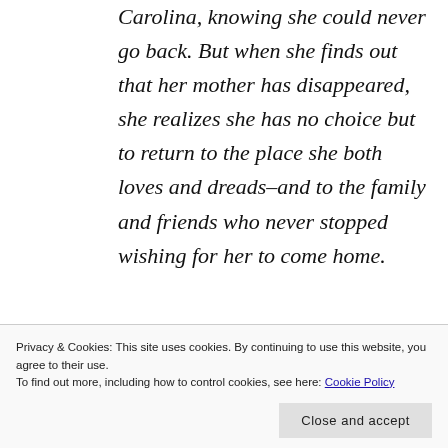Carolina, knowing she could never go back. But when she finds out that her mother has disappeared, she realizes she has no choice but to return to the place she both loves and dreads–and to the family and friends who never stopped wishing for her to come home.
Ivy, Larkin's mother, is discovered badly injured and unconscious in the burned-out wreckage of her ancestral
Privacy & Cookies: This site uses cookies. By continuing to use this website, you agree to their use.
To find out more, including how to control cookies, see here: Cookie Policy